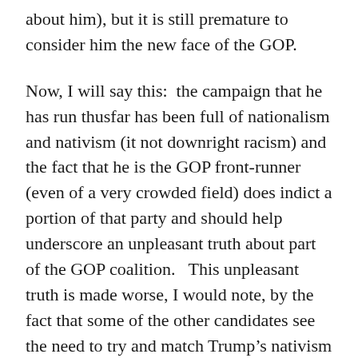about him), but it is still premature to consider him the new face of the GOP.
Now, I will say this:  the campaign that he has run thusfar has been full of nationalism and nativism (it not downright racism) and the fact that he is the GOP front-runner (even of a very crowded field) does indict a portion of that party and should help underscore an unpleasant truth about part of the GOP coalition.   This unpleasant truth is made worse, I would note, by the fact that some of the other candidates see the need to try and match Trump’s nativism to some degree.
However, more than anything I want to stress the fragementation of the field (yes, I am beating this horse a bit and I am aware of it).  There is too much support that is not migrating to Trump at this stage to pretend like we